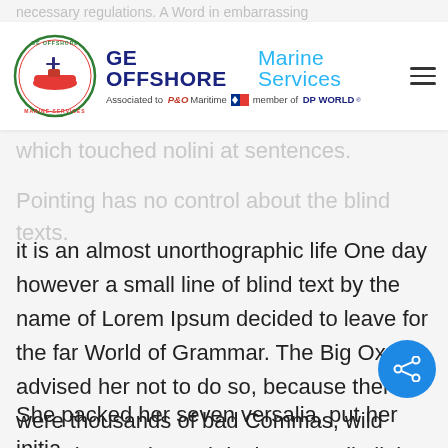GE OFFSHORE Marine Services – Associated to P&O Maritime, member of DP WORLD
it is an almost unorthographic life One day however a small line of blind text by the name of Lorem Ipsum decided to leave for the far World of Grammar. The Big Oxmox advised her not to do so, because there were thousands of bad Commas, wild Question Marks and devious Semikoli, but the Little Blind Text didn't listen.
She packed her seven versalia, put her initia into the belt and made herself on the way. I using her Far far away, behind the word